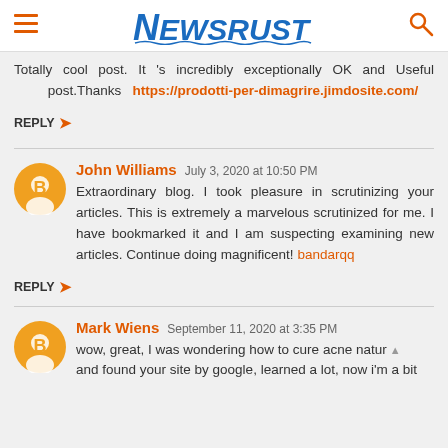NEWSRUST
Totally cool post. It 's incredibly exceptionally OK and Useful post.Thanks https://prodotti-per-dimagrire.jimdosite.com/
REPLY
John Williams  July 3, 2020 at 10:50 PM
Extraordinary blog. I took pleasure in scrutinizing your articles. This is extremely a marvelous scrutinized for me. I have bookmarked it and I am suspecting examining new articles. Continue doing magnificent! bandarqq
REPLY
Mark Wiens  September 11, 2020 at 3:35 PM
wow, great, I was wondering how to cure acne natur and found your site by google, learned a lot, now i'm a bit